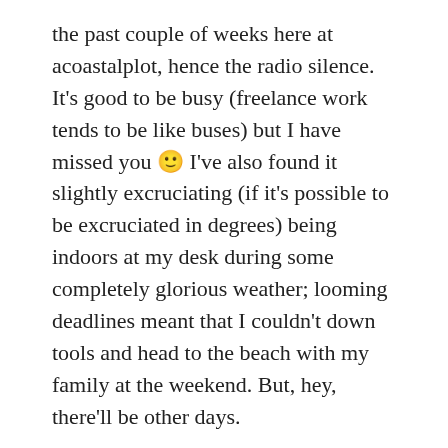the past couple of weeks here at acoastalplot, hence the radio silence. It's good to be busy (freelance work tends to be like buses) but I have missed you 🙂 I've also found it slightly excruciating (if it's possible to be excruciated in degrees) being indoors at my desk during some completely glorious weather; looming deadlines meant that I couldn't down tools and head to the beach with my family at the weekend. But, hey, there'll be other days.
The garden has had to pretty much fend for itself, so thank goodness it's finally raining! Hoo-flipping-rah. The sky has been full of grey clouds all day but it didn't start properly raining until early evening. It's now bouncing off the skylights and I'm imagining the plants are cheering, especially the grass which has lost most of its green. The snails are probably